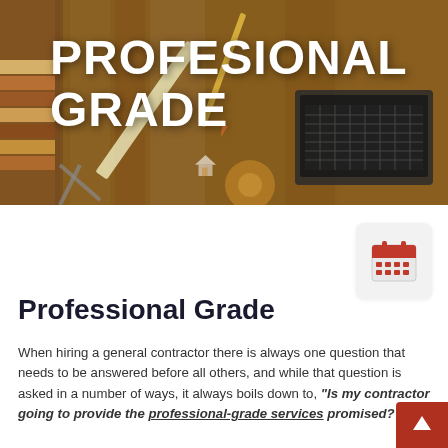[Figure (photo): Hero photo of a wooden workbench with construction tools, wood samples, laptop, rulers, tape measure, paint brush, and measuring instruments from overhead view]
PROFESIONAL GRADE
[Figure (illustration): Red calendar icon on a light gray rounded square background]
Professional Grade
When hiring a general contractor there is always one question that needs to be answered before all others, and while that question is asked in a number of ways, it always boils down to, "Is my contractor going to provide the professional-grade services promised?"
[Figure (illustration): White upward arrow icon on a red/dark red square background at bottom right corner]